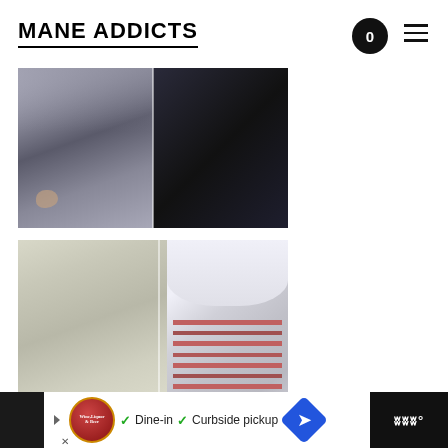MANE ADDICTS
[Figure (photo): Two-panel image: left side shows a person with a braided/twisted updo with shaved sides in gray tones; right side shows hands styling dark curly hair.]
[Figure (photo): Two-panel image: left side shows a beige/neutral textured wall or surface in a salon; right side shows white salon furniture and shelving with colorful product packaging.]
[Figure (photo): Advertisement bar at bottom: shows a restaurant/liquor store logo, navigation arrow, checkmarks for 'Dine-in' and 'Curbside pickup', a blue diamond navigation icon, and a dark right panel with stylized 'W' degrees symbol.]